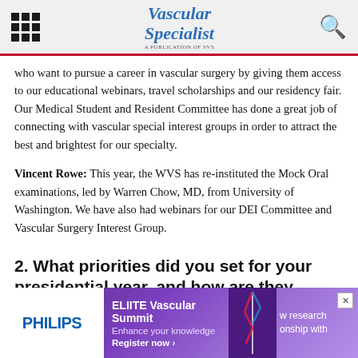Vascular Specialist
who want to pursue a career in vascular surgery by giving them access to our educational webinars, travel scholarships and our residency fair. Our Medical Student and Resident Committee has done a great job of connecting with vascular special interest groups in order to attract the best and brightest for our specialty.
Vincent Rowe: This year, the WVS has re-instituted the Mock Oral examinations, led by Warren Chow, MD, from University of Washington. We have also had webinars for our DEI Committee and Vascular Surgery Interest Group.
2. What priorities did you set for your presidential year, and how are they progressing?
[Figure (other): Philips ELIITE Vascular Summit advertisement banner: white left panel with PHILIPS logo, purple gradient background with text 'ELIITE Vascular Summit', 'Enhance your knowledge', 'Register now ›', partial text 'w research' and 'onship with' visible on right side, close button X in upper right.]